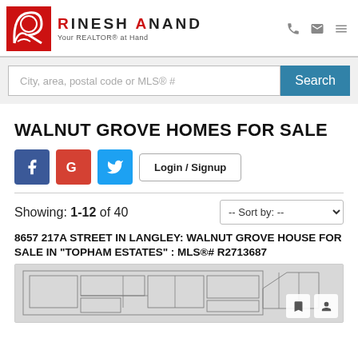RINESH ANAND — Your REALTOR® at Hand
City, area, postal code or MLS® #
WALNUT GROVE HOMES FOR SALE
Login / Signup
Showing: 1-12 of 40
8657 217A STREET IN LANGLEY: WALNUT GROVE HOUSE FOR SALE IN "TOPHAM ESTATES" : MLS®# R2713687
[Figure (photo): Architectural floor plan / elevation drawing of a house listing]